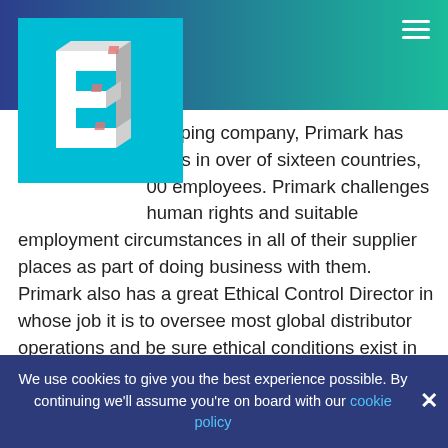[Figure (logo): 3D letter E logo on teal/cyan square background]
...veloping company, Primark has ...pliers in over of sixteen countries, ...00 employees. Primark challenges ...human rights and suitable employment circumstances in all of their supplier places as part of doing business with them. Primark also has a great Ethical Control Director in whose job it is to oversee most global distributor operations and be sure ethical conditions exist in accordance to Primark standards. The Honest Trade Movie director manages different ethics managers who will be stationed throughout the world to monitor all operations activities.
We use cookies to give you the best experience possible. By continuing we'll assume you're on board with our cookie policy